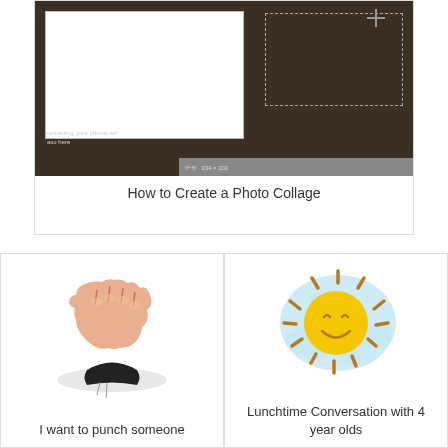[Figure (screenshot): Screenshot of a photo collage editing tool with dark brown background and white panels]
How to Create a Photo Collage
[Figure (photo): A fist punching through paper]
I want to punch someone
[Figure (illustration): Cartoon sun with smiley face on light blue splatter background]
Lunchtime Conversation with 4 year olds